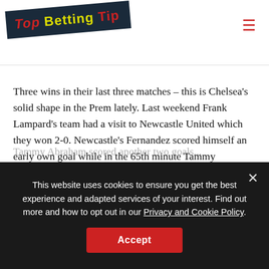Top Betting Tip
other results Chelsea would then top the league if they beat
Three wins in their last three matches – this is Chelsea's solid shape in the Prem lately. Last weekend Frank Lampard's team had a visit to Newcastle United which they won 2-0. Newcastle's Fernandez scored himself an early own goal while in the 65th minute Tammy Abraham scored a second one for the Blues. It was a good game for Lampard's team.
During the week Chelsea claimed another win, but in the Champions League. The Blues faced Rennes in France and acheived a 2-1 win.
Tammy Abraham...
This website uses cookies to ensure you get the best experience and adapted services of your interest. Find out more and how to opt out in our Privacy and Cookie Policy.